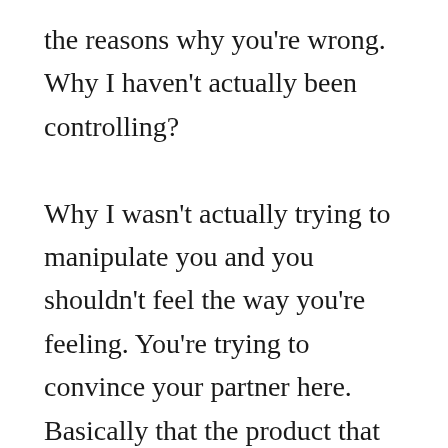the reasons why you're wrong. Why I haven't actually been controlling?

Why I wasn't actually trying to manipulate you and you shouldn't feel the way you're feeling. You're trying to convince your partner here. Basically that the product that you're looking for, which is me not being controlling is already there. If you simply choose to see it, but notice the paradox here, notice a change paradox here, and that your partner is telling you that she feels controlled